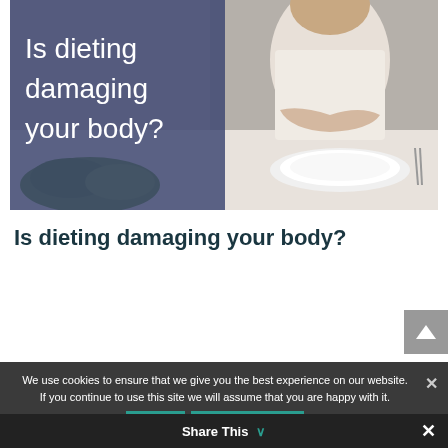[Figure (photo): Hero image of a woman with arms crossed sitting at a table with an empty white plate and cutlery, with dark blue overlay panel on the left half containing the title text 'Is dieting damaging your body?']
Is dieting damaging your body?
We use cookies to ensure that we give you the best experience on our website. If you continue to use this site we will assume that you are happy with it.